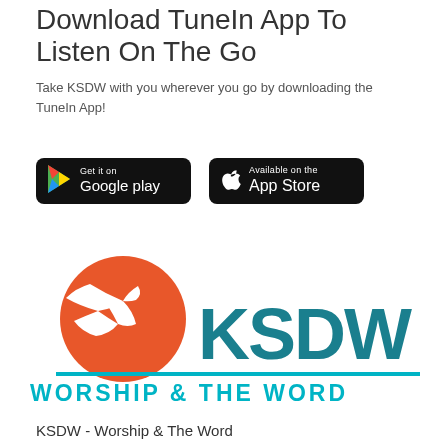Download TuneIn App To Listen On The Go
Take KSDW with you wherever you go by downloading the TuneIn App!
[Figure (logo): Google Play store badge - black rounded rectangle with Google Play triangle logo and text 'Get it on Google play']
[Figure (logo): Apple App Store badge - black rounded rectangle with Apple logo and text 'Available on the App Store']
[Figure (logo): KSDW radio station logo - orange circle with white seagull, large teal KSDW text, and 'WORSHIP & THE WORD' tagline in teal]
KSDW - Worship & The Word